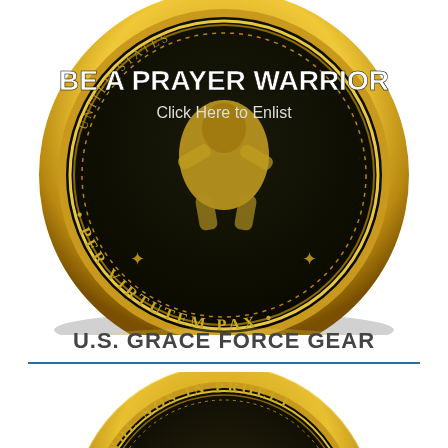[Figure (photo): A gold and black military-style challenge coin, partially cropped, showing a central embossed figure (lion/warrior) on a black background. Text around the outer ring reads 'PER VIRTUTEM PAX'. Inside the coin, bold white text reads 'BE A PRAYER WARRIOR' with subtitle 'Click Here to Enlist'.]
U.S. GRACE FORCE GEAR
[Figure (photo): A gold and black military-style challenge coin (bottom half visible), showing embossed text 'DEFENDE NOS IN PROELI...' around the outer ring and a central eagle/angel figure on dark background.]